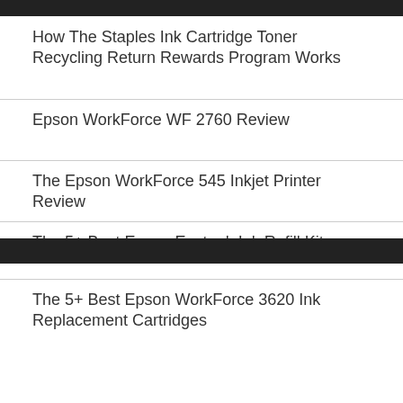How The Staples Ink Cartridge Toner Recycling Return Rewards Program Works
Epson WorkForce WF 2760 Review
The Epson WorkForce 545 Inkjet Printer Review
The 5+ Best Epson Ecotank Ink Refill Kits
The 5+ Best Epson WorkForce 3620 Ink Replacement Cartridges